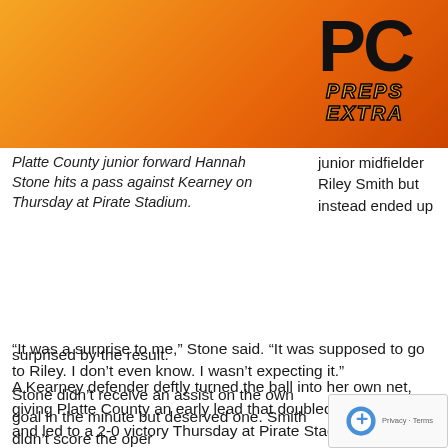[Figure (logo): PC Preps Extra logo on orange gradient header background]
Platte County junior forward Hannah Stone hits a pass against Kearney on Thursday at Pirate Stadium.
junior midfielder Riley Smith but instead ended up surprised by the result.
A Kearney defender deftly turned the ball into her own net, giving Platte County an early lead that doubled by halftime and led to a 2-0 victory Thursday at Pirate Stadium.
“It was a surprise to me,” Stone said. “It was supposed to go to Riley. I don’t even know. I wasn’t expecting it.”
Stone didn’t receive an assist on the own goal in the minute but deserved one. Smith didn’t score the oper...